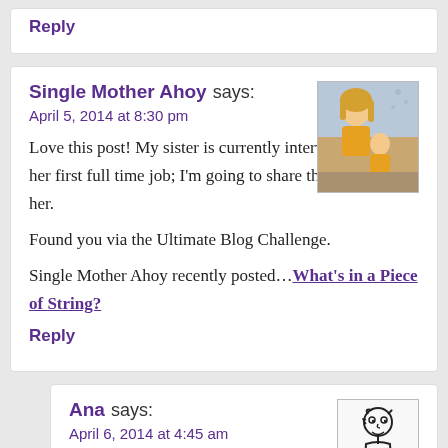Reply
Single Mother Ahoy says:
April 5, 2014 at 8:30 pm
Love this post! My sister is currently interviewing for her first full time job; I’m going to share this post with her.
Found you via the Ultimate Blog Challenge.
Single Mother Ahoy recently posted…What’s in a Piece of String?
Reply
Ana says:
April 6, 2014 at 4:45 am